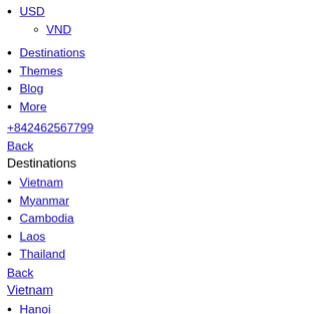USD
VND
Destinations
Themes
Blog
More
+842462567799
Back
Destinations
Vietnam
Myanmar
Cambodia
Laos
Thailand
Back
Vietnam
Hanoi
Halong Bay